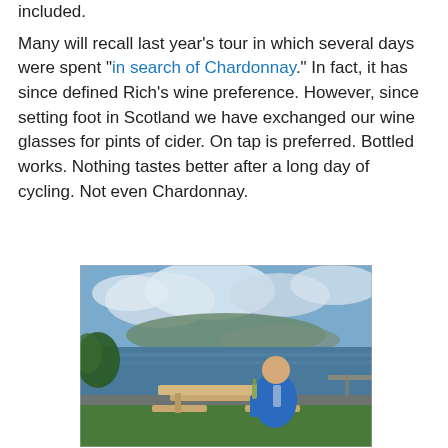included.
Many will recall last year's tour in which several days were spent "in search of Chardonnay." In fact, it has since defined Rich's wine preference. However, since setting foot in Scotland we have exchanged our wine glasses for pints of cider. On tap is preferred. Bottled works. Nothing tastes better after a long day of cycling. Not even Chardonnay.
[Figure (photo): A man in a blue cycling jersey sitting at a wooden picnic table outdoors near a Scottish loch, holding a bottle, with hills and cloudy sky in the background.]